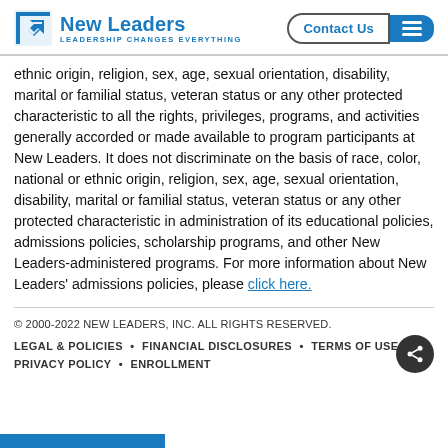[Figure (logo): New Leaders logo with blue arrow icon and text 'New Leaders — Leadership Changes Everything']
ethnic origin, religion, sex, age, sexual orientation, disability, marital or familial status, veteran status or any other protected characteristic to all the rights, privileges, programs, and activities generally accorded or made available to program participants at New Leaders. It does not discriminate on the basis of race, color, national or ethnic origin, religion, sex, age, sexual orientation, disability, marital or familial status, veteran status or any other protected characteristic in administration of its educational policies, admissions policies, scholarship programs, and other New Leaders-administered programs. For more information about New Leaders' admissions policies, please click here.
© 2000-2022 NEW LEADERS, INC. ALL RIGHTS RESERVED.
LEGAL & POLICIES • FINANCIAL DISCLOSURES • TERMS OF USE • PRIVACY POLICY • ENROLLMENT